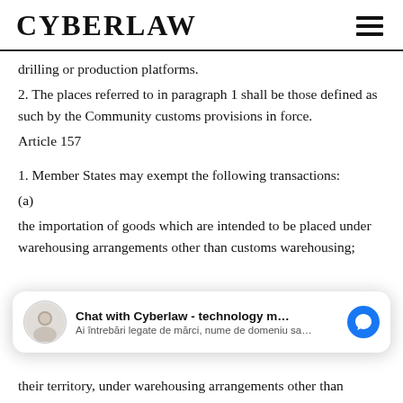CYBERLAW
drilling or production platforms.
2. The places referred to in paragraph 1 shall be those defined as such by the Community customs provisions in force.
Article 157
1. Member States may exempt the following transactions:
(a)
the importation of goods which are intended to be placed under warehousing arrangements other than customs warehousing;
[Figure (other): Chat widget: Chat with Cyberlaw - technology m... / Ai întrebări legate de mărci, nume de domeniu sa...]
their territory, under warehousing arrangements other than